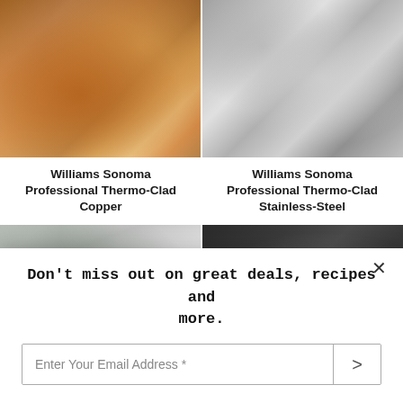[Figure (photo): Copper cookware pots with garlic cloves on a marble surface]
[Figure (photo): Stainless steel cookware pans stacked on a dark surface]
Williams Sonoma Professional Thermo-Clad Copper
Williams Sonoma Professional Thermo-Clad Stainless-Steel
[Figure (photo): Kitchen tools and pans hanging on hooks with herb sprigs]
[Figure (photo): Non-stick pans with white and wood handles on dark background]
Don't miss out on great deals, recipes and more.
Enter Your Email Address *